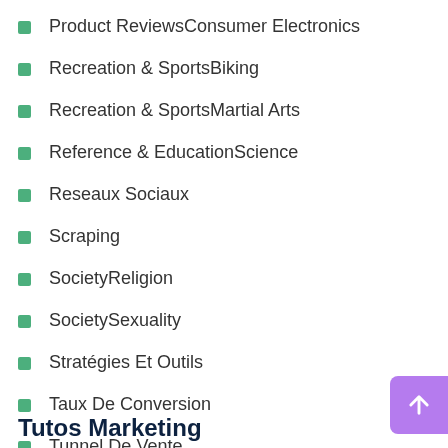Product ReviewsConsumer Electronics
Recreation & SportsBiking
Recreation & SportsMartial Arts
Reference & EducationScience
Reseaux Sociaux
Scraping
SocietyReligion
SocietySexuality
Stratégies Et Outils
Taux De Conversion
Tunnel De Vente
Ux Design
Tutos Marketing